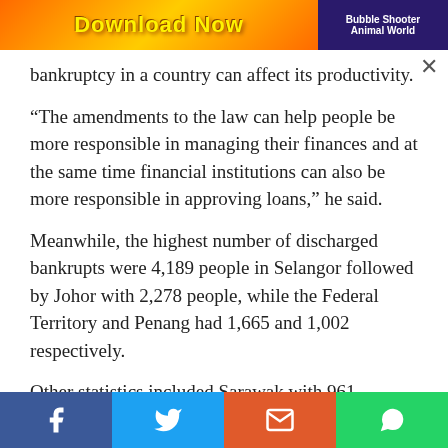[Figure (other): Advertisement banner showing 'Download Now' with colorful game-themed graphics and 'Bubble Shooter Animal World' text on dark blue right panel]
bankruptcy in a country can affect its productivity.
“The amendments to the law can help people be more responsible in managing their finances and at the same time financial institutions can also be more responsible in approving loans,” he said.
Meanwhile, the highest number of discharged bankrupts were 4,189 people in Selangor followed by Johor with 2,278 people, while the Federal Territory and Penang had 1,665 and 1,002 respectively.
Other statistics included Sarawak with 961 discharged bankrupts, Perak (895), Sabah (737), Kedah (550),
Facebook | Twitter | Email | WhatsApp